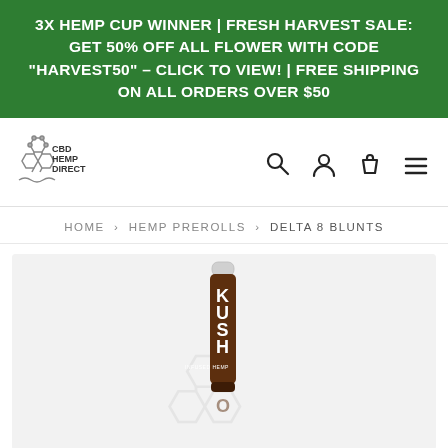3X HEMP CUP WINNER | FRESH HARVEST SALE: GET 50% OFF ALL FLOWER WITH CODE "HARVEST50" – CLICK TO VIEW! | FREE SHIPPING ON ALL ORDERS OVER $50
[Figure (logo): CBD Hemp Direct logo with molecular structure graphic and text CBD HEMP DIRECT]
[Figure (infographic): Navigation icons: search magnifying glass, user/account person icon, shopping bag/cart icon, hamburger menu icon]
HOME › HEMP PREROLLS › DELTA 8 BLUNTS
[Figure (photo): Product photo of a KUSHO branded hemp blunt/preroll in a clear tube with brown label, displayed against a light gray background with a faint CBD Hemp Direct molecular watermark]